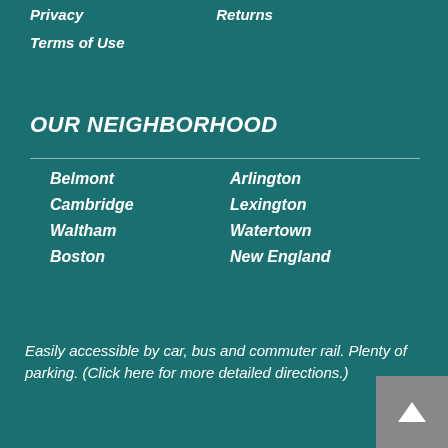Privacy
Returns
Terms of Use
OUR NEIGHBORHOOD
Belmont
Arlington
Cambridge
Lexington
Waltham
Watertown
Boston
New England
Easily accessible by car, bus and commuter rail. Plenty of parking. (Click here for more detailed directions.)